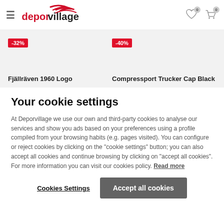[Figure (logo): Deporvillage logo with red swoosh and text]
Fjällräven 1960 Logo
Compressport Trucker Cap Black
Your cookie settings
At Deporvillage we use our own and third-party cookies to analyse our services and show you ads based on your preferences using a profile compiled from your browsing habits (e.g. pages visited). You can configure or reject cookies by clicking on the "cookie settings" button; you can also accept all cookies and continue browsing by clicking on "accept all cookies". For more information you can visit our cookies policy. Read more
Cookies Settings
Accept all cookies